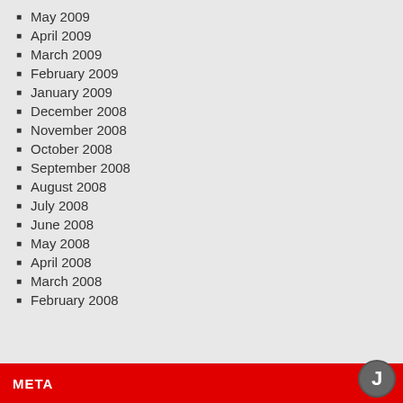May 2009
April 2009
March 2009
February 2009
January 2009
December 2008
November 2008
October 2008
September 2008
August 2008
July 2008
June 2008
May 2008
April 2008
March 2008
February 2008
META